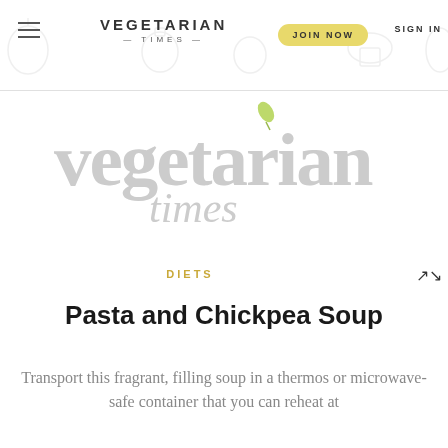VEGETARIAN — TIMES — | JOIN NOW | SIGN IN
[Figure (logo): Large watermark Vegetarian Times logo in light gray with a small green leaf accent above the letter i in vegetarian]
DIETS
Pasta and Chickpea Soup
Transport this fragrant, filling soup in a thermos or microwave-safe container that you can reheat at